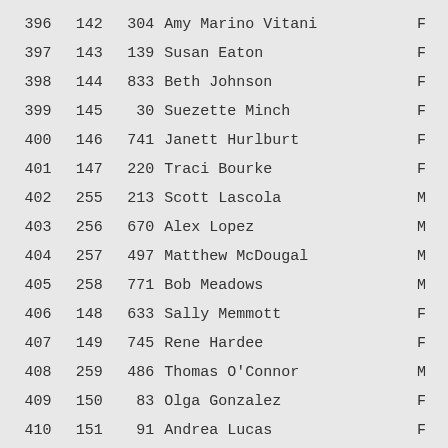| #1 | #2 | Bib | Name | Sex |
| --- | --- | --- | --- | --- |
| 396 | 142 | 304 | Amy Marino Vitani | F |
| 397 | 143 | 139 | Susan Eaton | F |
| 398 | 144 | 833 | Beth Johnson | F |
| 399 | 145 | 30 | Suezette Minch | F |
| 400 | 146 | 741 | Janett Hurlburt | F |
| 401 | 147 | 220 | Traci Bourke | F |
| 402 | 255 | 213 | Scott Lascola | M |
| 403 | 256 | 670 | Alex Lopez | M |
| 404 | 257 | 497 | Matthew McDougal | M |
| 405 | 258 | 771 | Bob Meadows | M |
| 406 | 148 | 633 | Sally Memmott | F |
| 407 | 149 | 745 | Rene Hardee | F |
| 408 | 259 | 486 | Thomas O'Connor | M |
| 409 | 150 | 83 | Olga Gonzalez | F |
| 410 | 151 | 91 | Andrea Lucas | F |
| 411 | 152 | 417 | Paige Twiggs | F |